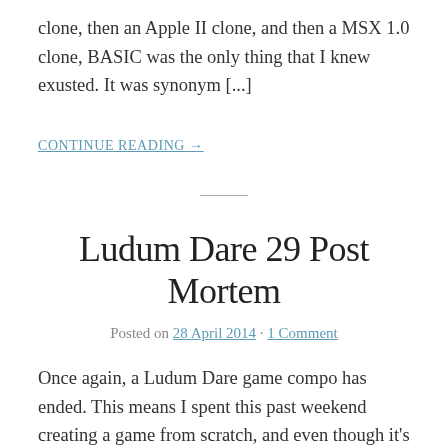clone, then an Apple II clone, and then a MSX 1.0 clone, BASIC was the only thing that I knew exusted. It was synonym [...]
CONTINUE READING →
Ludum Dare 29 Post Mortem
Posted on 28 April 2014 · 1 Comment
Once again, a Ludum Dare game compo has ended. This means I spent this past weekend creating a game from scratch, and even though it's a simple thing, I think this is the first time I can say I created a more well-rounded game experience for Ludum Dare. The result is called Escape Enclosures Expeditiously [...]